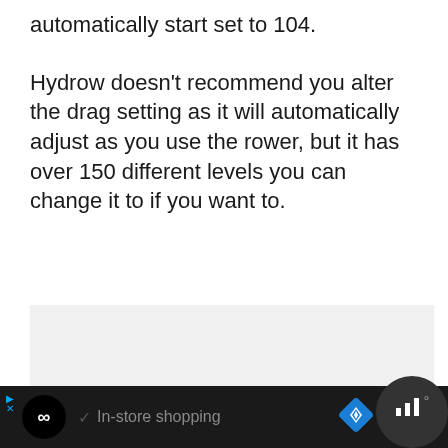automatically start set to 104.
Hydrow doesn't recommend you alter the drag setting as it will automatically adjust as you use the rower, but it has over 150 different levels you can change it to if you want to.
[Figure (other): Light gray placeholder/ad content box]
In-store shopping [browser UI bar with ad icons and navigation]